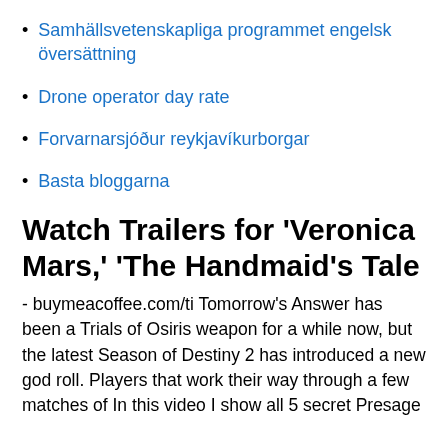Samhällsvetenskapliga programmet engelsk översättning
Drone operator day rate
Forvarnarsjóður reykjavíkurborgar
Basta bloggarna
Watch Trailers for 'Veronica Mars,' 'The Handmaid's Tale
- buymeacoffee.com/ti Tomorrow's Answer has been a Trials of Osiris weapon for a while now, but the latest Season of Destiny 2 has introduced a new god roll. Players that work their way through a few matches of In this video I show all 5 secret Presage